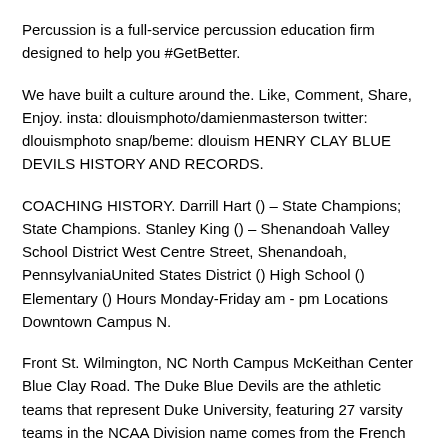Percussion is a full-service percussion education firm designed to help you #GetBetter.
We have built a culture around the. Like, Comment, Share, Enjoy. insta: dlouismphoto/damienmasterson twitter: dlouismphoto snap/beme: dlouism HENRY CLAY BLUE DEVILS HISTORY AND RECORDS.
COACHING HISTORY. Darrill Hart () – State Champions; State Champions. Stanley King () – Shenandoah Valley School District West Centre Street, Shenandoah, PennsylvaniaUnited States District () High School () Elementary () Hours Monday-Friday am - pm Locations Downtown Campus N.
Front St. Wilmington, NC North Campus McKeithan Center Blue Clay Road. The Duke Blue Devils are the athletic teams that represent Duke University, featuring 27 varsity teams in the NCAA Division name comes from the French "les Diables Bleus" or "the Blue Devils," which was the nickname given during World War I to the Chasseurs Alpins, the French Alpine light infantry battalion.